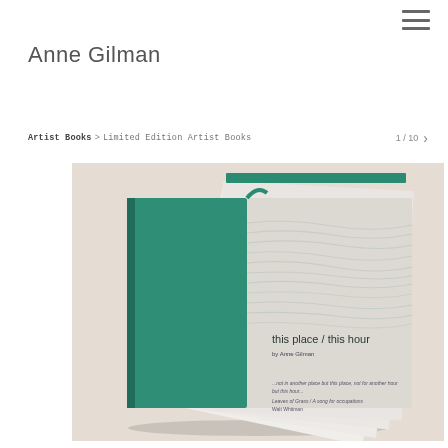Anne Gilman
Artist Books > Limited Edition Artist Books
1 / 10
[Figure (photo): A hardcover artist book with a teal/green spine and cover, opened to show interior pages. The cover reads 'this place / this hour by Anne Gilman' with ocean/water imagery and a quote from Leaves of Grass by Walt Whitman.]